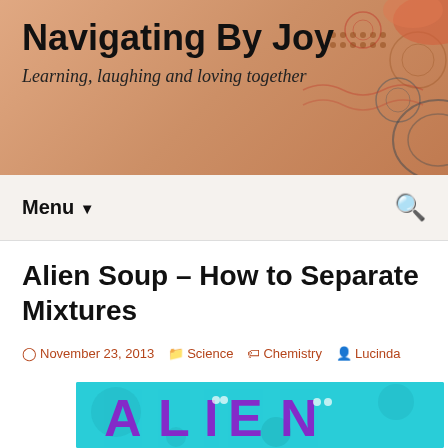Navigating By Joy
Learning, laughing and loving together
Menu ▼
Alien Soup – How to Separate Mixtures
November 23, 2013   Science   Chemistry   Lucinda
[Figure (illustration): Colorful cartoon illustration spelling ALIEN with monster character letters on a cyan/turquoise background]